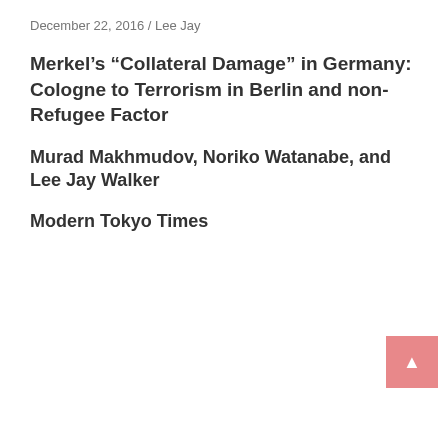December 22, 2016 / Lee Jay
Merkel’s “Collateral Damage” in Germany: Cologne to Terrorism in Berlin and non-Refugee Factor
Murad Makhmudov, Noriko Watanabe, and Lee Jay Walker
Modern Tokyo Times